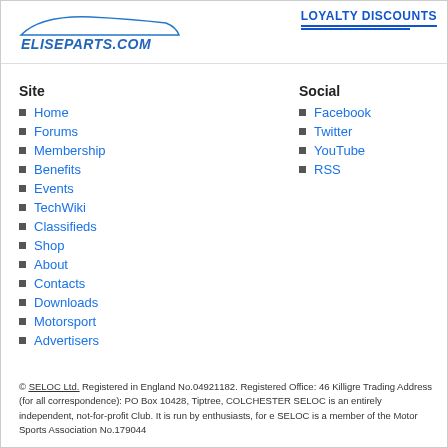[Figure (logo): EliseParts.com logo with car silhouette]
LOYALTY DISCOUNTS
Site
Home
Forums
Membership
Benefits
Events
TechWiki
Classifieds
Shop
About
Contacts
Downloads
Motorsport
Advertisers
Social
Facebook
Twitter
YouTube
RSS
© SELOC Ltd. Registered in England No.04921182. Registered Office: 46 Killigre... Trading Address (for all correspondence): PO Box 10428, Tiptree, COLCHESTER... SELOC is an entirely independent, not-for-profit Club. It is run by enthusiasts, for e... SELOC is a member of the Motor Sports Association No.179044